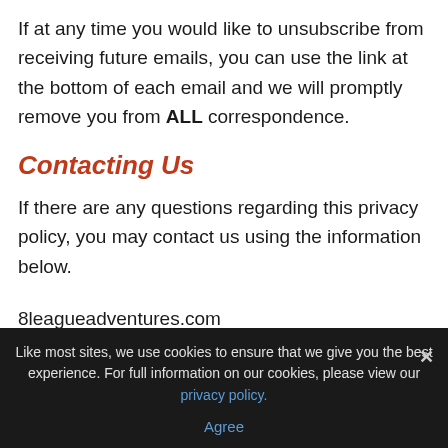If at any time you would like to unsubscribe from receiving future emails, you can use the link at the bottom of each email and we will promptly remove you from ALL correspondence.
Contacting Us
If there are any questions regarding this privacy policy, you may contact us using the information below.
8leagueadventures.com
150 Positano Circle
Redwood City, CA 94065
Like most sites, we use cookies to ensure that we give you the best experience. For full information on our cookies, please view our privacy policy.
Agree